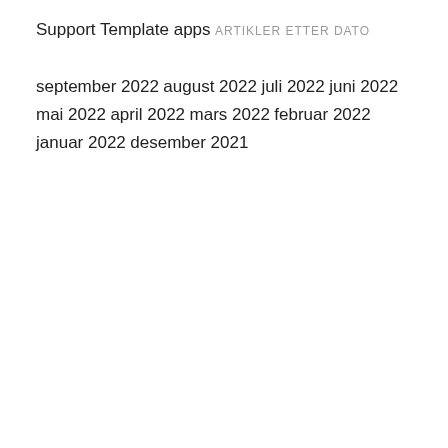Support
Template apps
ARTIKLER ETTER DATO
september 2022
august 2022
juli 2022
juni 2022
mai 2022
april 2022
mars 2022
februar 2022
januar 2022
desember 2021